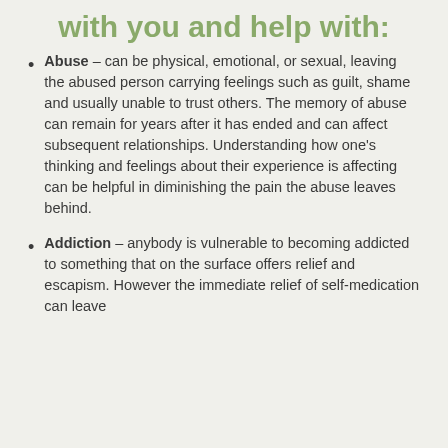with you and help with:
Abuse – can be physical, emotional, or sexual, leaving the abused person carrying feelings such as guilt, shame and usually unable to trust others. The memory of abuse can remain for years after it has ended and can affect subsequent relationships. Understanding how one's thinking and feelings about their experience is affecting can be helpful in diminishing the pain the abuse leaves behind.
Addiction – anybody is vulnerable to becoming addicted to something that on the surface offers relief and escapism. However the immediate relief of self-medication can leave...